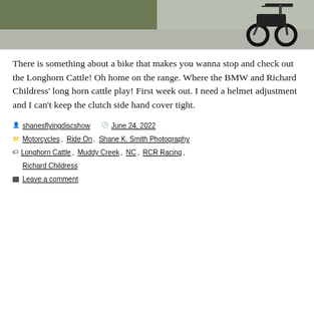[Figure (photo): Top portion of a motorcycle parked on gravel near grass, partial view cropped at top]
There is something about a bike that makes you wanna stop and check out the Longhorn Cattle! Oh home on the range. Where the BMW and Richard Childress' long horn cattle play! First week out. I need a helmet adjustment and I can't keep the clutch side hand cover tight.
shanesflyingdiscshow  June 24, 2022
Motorcycles, Ride On, Shane K. Smith Photography
Longhorn Cattle, Muddy Creek, NC, RCR Racing, Richard Childress
Leave a comment